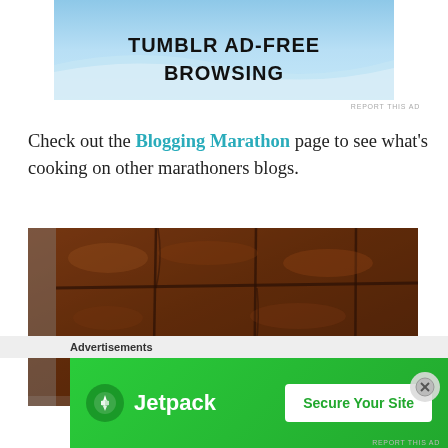[Figure (screenshot): Tumblr Ad-Free Browsing advertisement banner with blue sky background]
REPORT THIS AD
Check out the Blogging Marathon page to see what’s cooking on other marathoners blogs.
[Figure (photo): Close-up photograph of chocolate brownies cut into squares in a baking pan]
Advertisements
[Figure (screenshot): Jetpack advertisement banner with green background showing 'Secure Your Site' button]